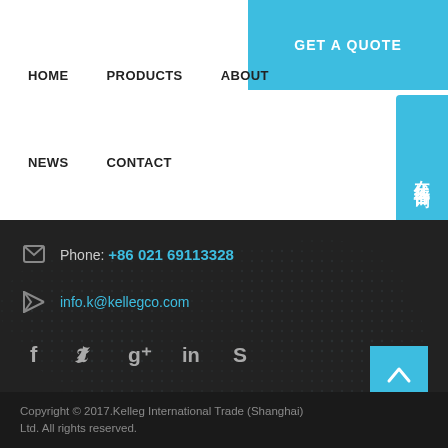HOME   PRODUCTS   ABOUT   GET A QUOTE   在线咨询
NEWS   CONTACT
Phone: +86 021 69113328
info.k@kellegco.com
[Figure (infographic): Social media icons: Facebook, Twitter, Google+, LinkedIn, Skype]
Copyright © 2017.Kelleg International Trade (Shanghai) Ltd. All rights reserved.